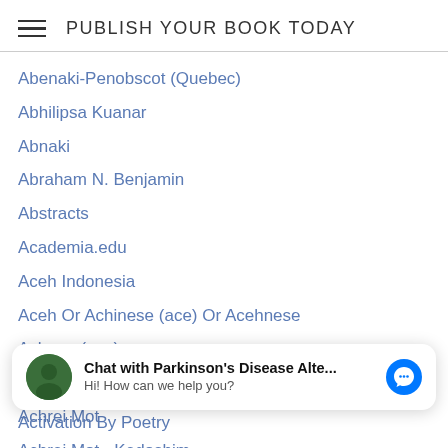PUBLISH YOUR BOOK TODAY
Abenaki-Penobscot (Quebec)
Abhilipsa Kuanar
Abnaki
Abraham N. Benjamin
Abstracts
Academia.edu
Aceh Indonesia
Aceh Or Achinese (ace) Or Acehnese
Achang (acn)
Achang (China)
Achrei Mot
Achrei Mot - Kedoshim
ACLU
[Figure (other): Chat widget: Chat with Parkinson's Disease Alte... Hi! How can we help you?]
Activation By Poetry